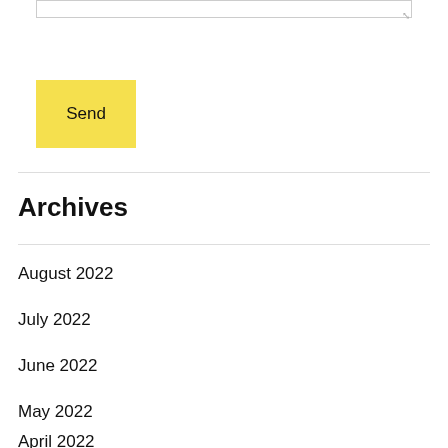[Figure (screenshot): Textarea input box with resize handle at bottom right]
Send
Archives
August 2022
July 2022
June 2022
May 2022
April 2022